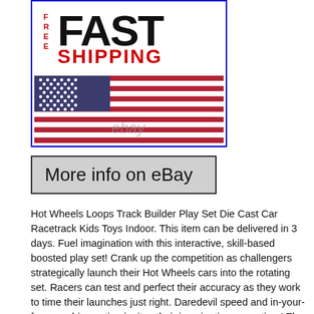[Figure (illustration): Free fast shipping banner with American flag and eBay watermark. Shows 'FREE FAST SHIPPING' text in red/dark colors above a large American flag image with 'ebay' watermark.]
[Figure (other): Button reading 'More info on eBay' with gray background and black border]
Hot Wheels Loops Track Builder Play Set Die Cast Car Racetrack Kids Toys Indoor. This item can be delivered in 3 days. Fuel imagination with this interactive, skill-based boosted play set! Crank up the competition as challengers strategically launch their Hot Wheels cars into the rotating set. Racers can test and perfect their accuracy as they work to time their launches just right. Daredevil speed and in-your-face crashing action ignites their imagination every time! The last car racing wins! Start over again and sharpen your launching skills to secure your victory. Crank up the competition with the Hot Wheels Roto Revolution Track Set! This interactive, skill-based set drives problem solving with exciting Hot Wheels action while also thrilling racers with super-fast face-offs! Players are put to the test as they strategically